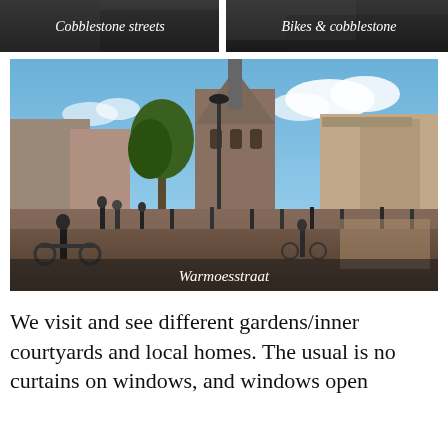[Figure (photo): Dark-toned photo with caption 'Cobblestone streets' in white italic text on dark background]
[Figure (photo): Dark-toned photo with caption 'Bikes & cobblestone' in white italic text on dark background]
[Figure (photo): A busy town square in Haarlem showing the Grote Kerk (St. Bavo Church), cyclists, pedestrians, trees, and outdoor cafe seating. Caption reads 'Warmoesstraat']
Warmoesstraat
We visit and see different gardens/inner courtyards and local homes. The usual is no curtains on windows, and windows open